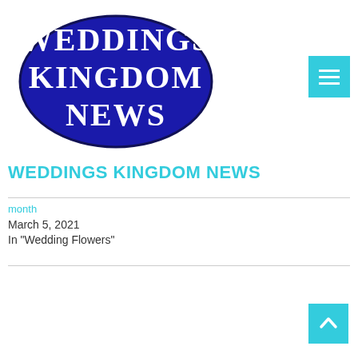[Figure (logo): Weddings Kingdom News oval logo — dark blue oval with white serif text reading WEDDINGS KINGDOM NEWS]
WEDDINGS KINGDOM NEWS
month
March 5, 2021
In "Wedding Flowers"